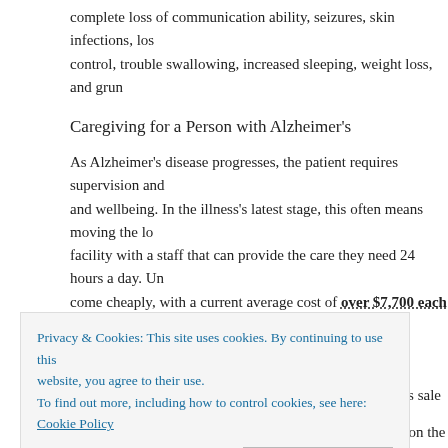complete loss of communication ability, seizures, skin infections, loss of bladder control, trouble swallowing, increased sleeping, weight loss, and grun...
Caregiving for a Person with Alzheimer's
As Alzheimer's disease progresses, the patient requires supervision and care for their safety and wellbeing. In the illness's latest stage, this often means moving the lo... facility with a staff that can provide the care they need 24 hours a day. Un... come cheaply, with a current average cost of over $7,700 each month. T... many families sell a senior's home and put the proceeds toward their ca... what your loved one's home will sell for by looking at its sale price, the s... the taxes and fees for its sale so you can budget for care accordingly.
There is some good news: while those in the severe stage of Alzheimer's... an assisted living facility, typically those in the earlier stages can continue... family member or loved one can provide support. There are an estimated...
Privacy & Cookies: This site uses cookies. By continuing to use this website, you agree to their use.
To find out more, including how to control cookies, see here: Cookie Policy
Alzheimer's patient. Be sure to keep all their necessities on the first f...